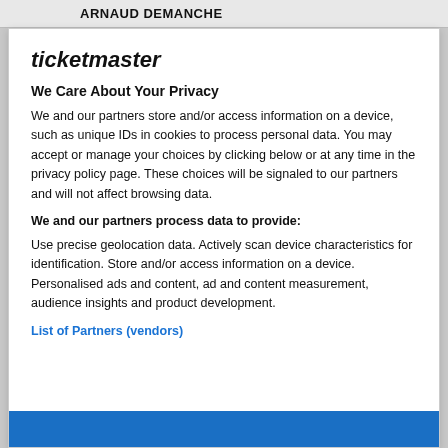ARNAUD DEMANCHE
ticketmaster
We Care About Your Privacy
We and our partners store and/or access information on a device, such as unique IDs in cookies to process personal data. You may accept or manage your choices by clicking below or at any time in the privacy policy page. These choices will be signaled to our partners and will not affect browsing data.
We and our partners process data to provide:
Use precise geolocation data. Actively scan device characteristics for identification. Store and/or access information on a device. Personalised ads and content, ad and content measurement, audience insights and product development.
List of Partners (vendors)